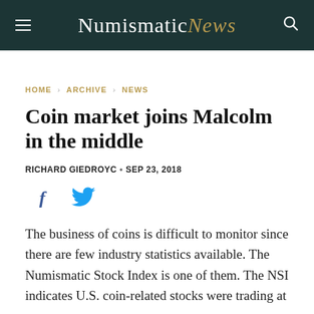NumismaticNews
HOME › ARCHIVE › NEWS
Coin market joins Malcolm in the middle
RICHARD GIEDROYC • SEP 23, 2018
[Figure (other): Social sharing icons: Facebook (f) and Twitter (bird) icons in blue]
The business of coins is difficult to monitor since there are few industry statistics available. The Numismatic Stock Index is one of them. The NSI indicates U.S. coin-related stocks were trading at